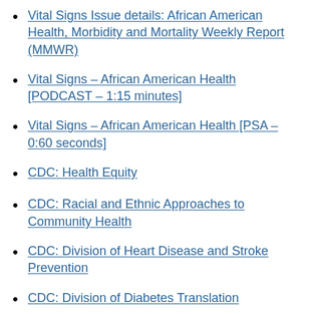Vital Signs Issue details: African American Health, Morbidity and Mortality Weekly Report (MMWR)
Vital Signs – African American Health [PODCAST – 1:15 minutes]
Vital Signs – African American Health [PSA – 0:60 seconds]
CDC: Health Equity
CDC: Racial and Ethnic Approaches to Community Health
CDC: Division of Heart Disease and Stroke Prevention
CDC: Division of Diabetes Translation
CDC: Division of Cancer Prevention and Control
CDC: Division of Nutrition, Physical Activity